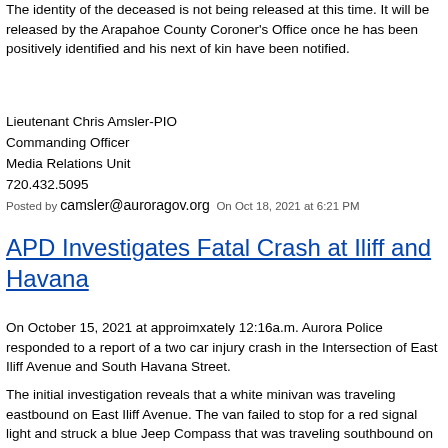The identity of the deceased is not being released at this time. It will be released by the Arapahoe County Coroner's Office once he has been positively identified and his next of kin have been notified.
Lieutenant Chris Amsler-PIO
Commanding Officer
Media Relations Unit
720.432.5095
Posted by camsler@auroragov.org  On Oct 18, 2021 at 6:21 PM
APD Investigates Fatal Crash at Iliff and Havana
On October 15, 2021 at approimxately 12:16a.m. Aurora Police responded to a report of a two car injury crash in the Intersection of East Iliff Avenue and South Havana Street.
The initial investigation reveals that a white minivan was traveling eastbound on East Iliff Avenue. The van failed to stop for a red signal light and struck a blue Jeep Compass that was traveling southbound on South Havana Avenue.